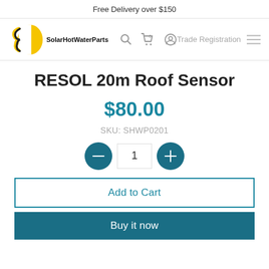Free Delivery over $150
[Figure (logo): SolarHotWaterParts logo with yellow wrench/sun icon and bold text 'SolarHotWaterParts']
RESOL 20m Roof Sensor
$80.00
SKU: SHWP0201
1
Add to Cart
Buy it now